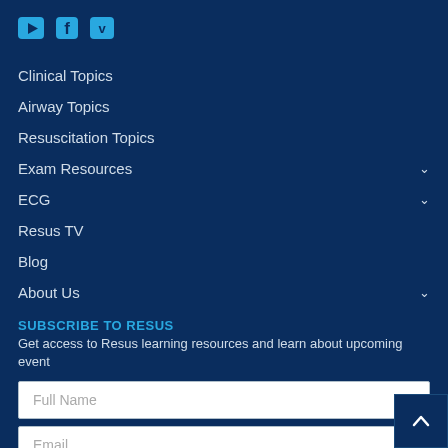[Figure (logo): Social media icons: YouTube, Facebook, Vimeo in teal/cyan color]
Clinical Topics
Airway Topics
Resuscitation Topics
Exam Resources ∨
ECG ∨
Resus TV
Blog
About Us ∨
SUBSCRIBE TO RESUS
Get access to Resus learning resources and learn about upcoming event
Full Name
Email
We respect your privacy